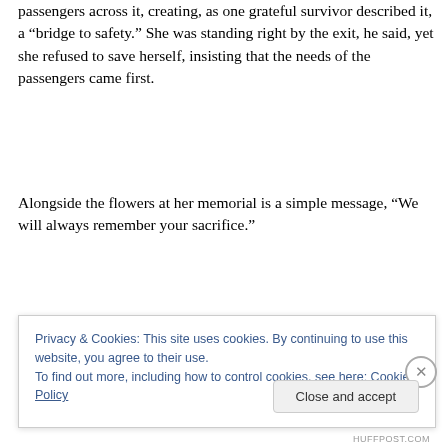passengers across it, creating, as one grateful survivor described it, a “bridge to safety.” She was standing right by the exit, he said, yet she refused to save herself, insisting that the needs of the passengers came first.
Alongside the flowers at her memorial is a simple message, “We will always remember your sacrifice.”
Spiritually speaking, Jesus is our “bridge to safety.” While
Privacy & Cookies: This site uses cookies. By continuing to use this website, you agree to their use.
To find out more, including how to control cookies, see here: Cookie Policy
Close and accept
HUFFPOST.COM